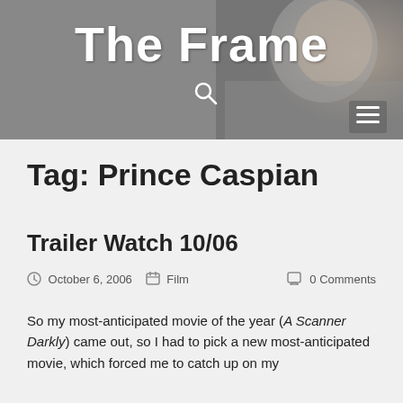[Figure (photo): Black and white background photo of a woman looking down, used as website header background]
The Frame
Tag: Prince Caspian
Trailer Watch 10/06
October 6, 2006   Film   0 Comments
So my most-anticipated movie of the year (A Scanner Darkly) came out, so I had to pick a new most-anticipated movie, which forced me to catch up on my